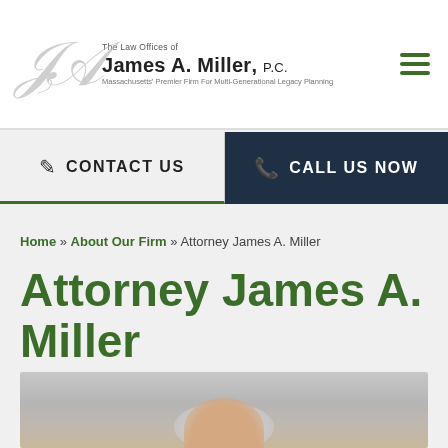The Law Offices of James A. Miller, P.C. — Massachusetts' Premier Firm For Multi-Generational Legacy Planning
CONTACT US
CALL US NOW
Home » About Our Firm » Attorney James A. Miller
Attorney James A. Miller
[Figure (photo): Professional headshot photo of Attorney James A. Miller, partially visible at bottom of page]